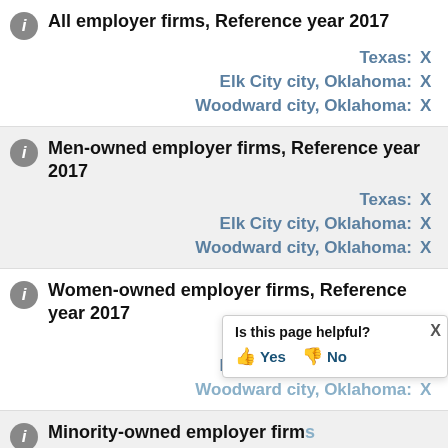All employer firms, Reference year 2017
Texas: X
Elk City city, Oklahoma: X
Woodward city, Oklahoma: X
Men-owned employer firms, Reference year 2017
Texas: X
Elk City city, Oklahoma: X
Woodward city, Oklahoma: X
Women-owned employer firms, Reference year 2017
Texas: X
Elk City city, Oklahoma: X
Woodward city, Oklahoma: X
Minority-owned employer firms, Reference year 2017